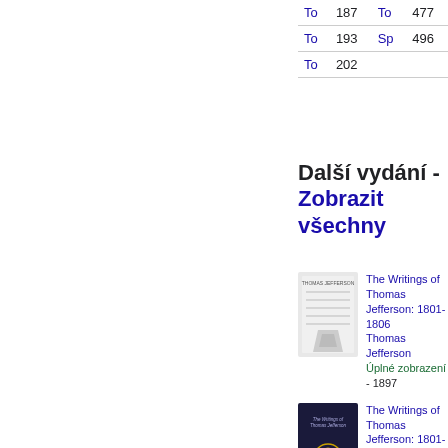| To | 187 | To | 477 |
| To | 193 | Sp | 496 |
| To | 202 |  |  |
Další vydání - Zobrazit všechny
The Writings of Thomas Jefferson: 1801-1806
Thomas Jefferson
Úplné zobrazení - 1897
The Writings of Thomas Jefferson: 1801-1806
Thomas Jefferson
Náhled není k dispozici. - 2016